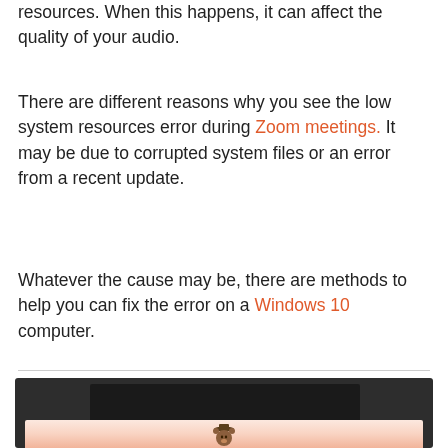resources. When this happens, it can affect the quality of your audio.
There are different reasons why you see the low system resources error during Zoom meetings. It may be due to corrupted system files or an error from a recent update.
Whatever the cause may be, there are methods to help you can fix the error on a Windows 10 computer.
[Figure (screenshot): Screenshot showing a Zoom meeting interface partially cropped, with a dark background and an overlaid image showing a Smokey Bear mascot against a pink/orange sunset sky.]